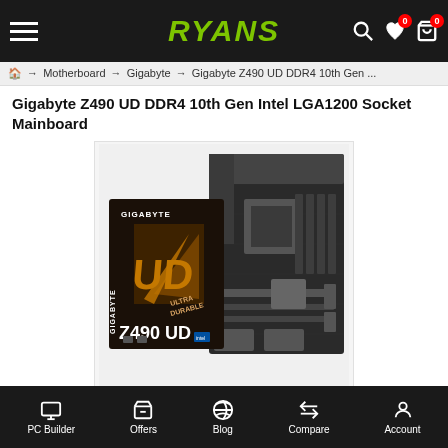RYANS
Motherboard → Gigabyte → Gigabyte Z490 UD DDR4 10th Gen ...
Gigabyte Z490 UD DDR4 10th Gen Intel LGA1200 Socket Mainboard
[Figure (photo): Gigabyte Z490 UD motherboard product photo showing the motherboard PCB and its retail box. Box is dark with gold UD logo text and Z490 UD branding. Motherboard is black with silver/gray heatsinks.]
PC Builder  Offers  Blog  Compare  Account